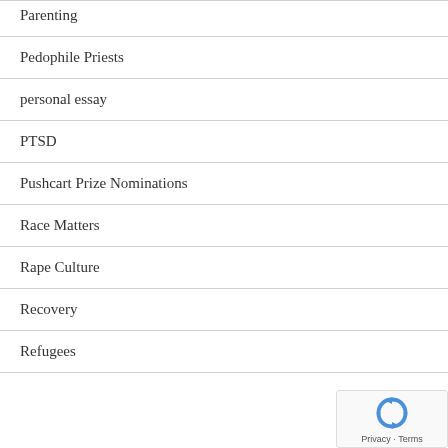Parenting
Pedophile Priests
personal essay
PTSD
Pushcart Prize Nominations
Race Matters
Rape Culture
Recovery
Refugees